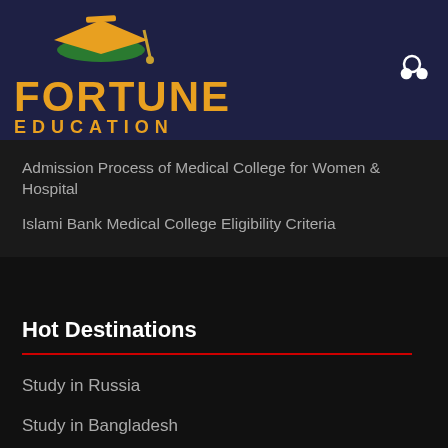[Figure (logo): Fortune Education logo with graduation cap in orange and green, text FORTUNE in orange bold and EDUCATION in orange smaller letters below, on dark navy background]
Admission Process of Medical College for Women & Hospital
Islami Bank Medical College Eligibility Criteria
Hot Destinations
Study in Russia
Study in Bangladesh
Study in UK